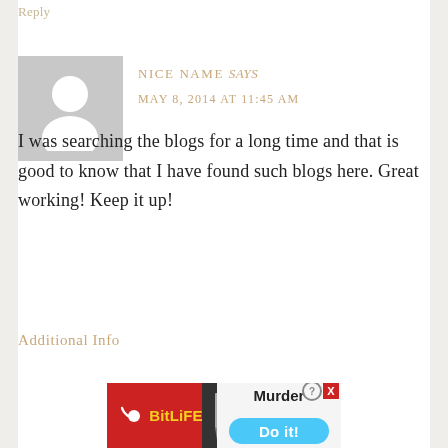Reply
[Figure (illustration): Gray placeholder avatar with silhouette of a person (head and shoulders) in white]
NICE NAME says
MAY 8, 2014 AT 11:45 AM
I was searching the blogs for a long time and that is good to know that I have found such blogs here. Great working! Keep it up!
Additional Info
[Figure (screenshot): BitLife advertisement banner with red background, sperm logo, yellow BitLife text, knife graphic, and Murder / Do it! call to action with blue button]